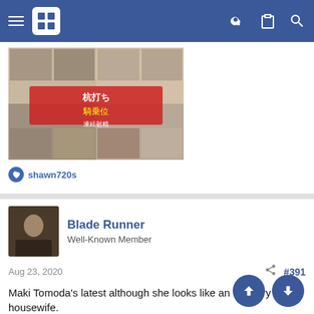Navigation bar with hamburger menu, site logo, key icon, clipboard icon, search icon
[Figure (photo): Japanese adult DVD product image showing collage of scenes with Japanese text]
shawn720s
[Figure (photo): User avatar for Blade Runner]
Blade Runner
Well-Known Member
Aug 23, 2020  #391
Maki Tomoda's latest although she looks like an ordinary housewife.
https://www.r18.com/videos/vod/movies/detail/-/id=jul00297/?i3_ref=search&i3_ord=1
[Figure (photo): Thumbnail image from r18.com product page]